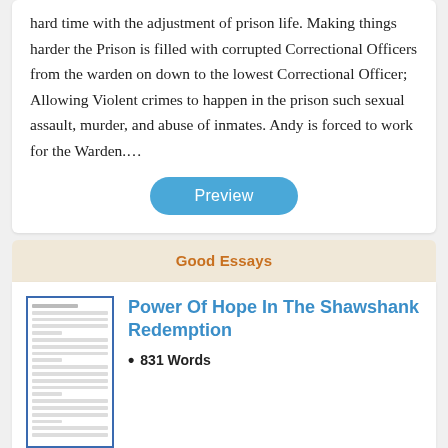hard time with the adjustment of prison life. Making things harder the Prison is filled with corrupted Correctional Officers from the warden on down to the lowest Correctional Officer; Allowing Violent crimes to happen in the prison such sexual assault, murder, and abuse of inmates. Andy is forced to work for the Warden.…
Preview
Good Essays
[Figure (illustration): Thumbnail image of a document page with lines of text]
Power Of Hope In The Shawshank Redemption
831 Words